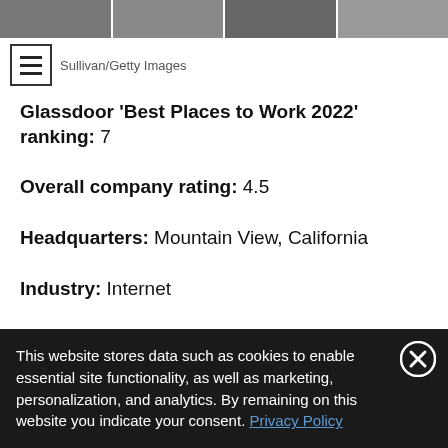[Figure (photo): Image strip of photos at top of page]
Sullivan/Getty Images
Glassdoor 'Best Places to Work 2022' ranking: 7
Overall company rating: 4.5
Headquarters: Mountain View, California
Industry: Internet
Remote work policy: Google employees who choose to
This website stores data such as cookies to enable essential site functionality, as well as marketing, personalization, and analytics. By remaining on this website you indicate your consent. Privacy Policy